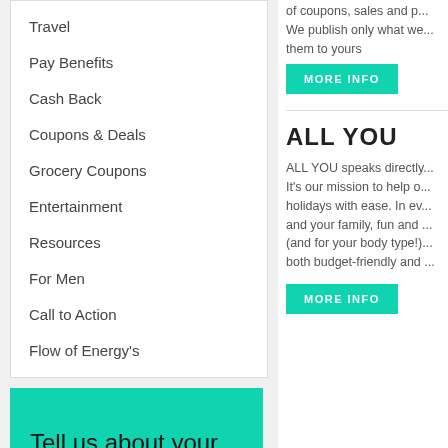Travel
Pay Benefits
Cash Back
Coupons & Deals
Grocery Coupons
Entertainment
Resources
For Men
Call to Action
Flow of Energy's
[Figure (infographic): Teal banner reading 'Tell us about your EXPERIENCE']
of coupons, sales and p... We publish only what we... them to yours
MORE INFO
ALL YOU
ALL YOU speaks directly... It's our mission to help o... holidays with ease. In ev... and your family, fun and ... (and for your body type!)... both budget-friendly and ...
MORE INFO